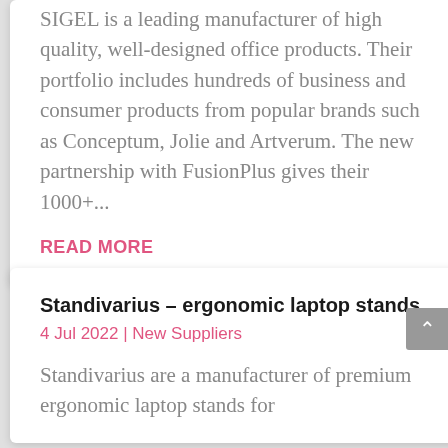SIGEL is a leading manufacturer of high quality, well-designed office products. Their portfolio includes hundreds of business and consumer products from popular brands such as Conceptum, Jolie and Artverum. The new partnership with FusionPlus gives their 1000+...
READ MORE
Standivarius – ergonomic laptop stands
4 Jul 2022 | New Suppliers
Standivarius are a manufacturer of premium ergonomic laptop stands for